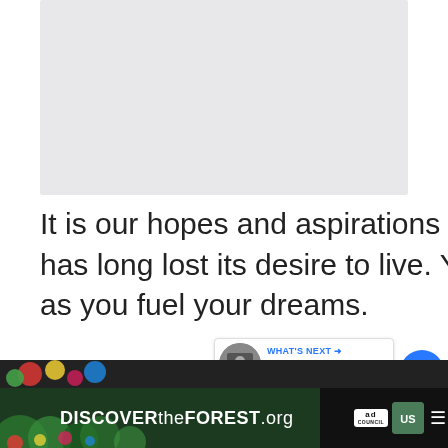[Figure (other): Gray placeholder image area at top of page]
It is our hopes and aspirations that keep us alive when the soul has long lost its desire to live. You find the spark within your heart as you fuel your dreams.
The number constantly makes you aware that the journey is not yet over and th...
[Figure (other): What's Next recommendation card showing Angel Number 6565 Meanin...]
[Figure (other): Bottom advertisement banner: DISCOVERtheFOREST.org with Ad Council and USDA Forest Service logos]